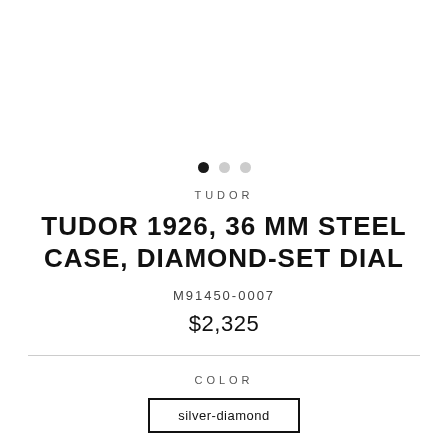[Figure (other): Three navigation dots: one filled black, two light gray, indicating image carousel position]
TUDOR
TUDOR 1926, 36 MM STEEL CASE, DIAMOND-SET DIAL
M91450-0007
$2,325
COLOR
silver-diamond